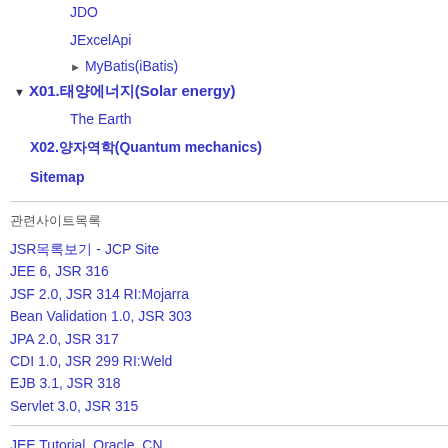JDO
JExcelApi
▶ MyBatis(iBatis)
▼ X01.태양에너지(Solar energy)
The Earth
X02.양자역학(Quantum mechanics)
Sitemap
관련사이트목록
JSR목록보기 - JCP Site
JEE 6, JSR 316
JSF 2.0, JSR 314 RI:Mojarra
Bean Validation 1.0, JSR 303
JPA 2.0, JSR 317
CDI 1.0, JSR 299 RI:Weld
EJB 3.1, JSR 318
Servlet 3.0, JSR 315
JEE Tutorial, Oracle, CN
InfoQ - IT News
Coreservlets.com
JEE 강좌  - NetBeans.org
JavaPassion.com for JEE 6
51CTO.COM - JAVA, EE강좌모음
JavaEye - JSF, Seam
Oracle JEE, OTN-Java